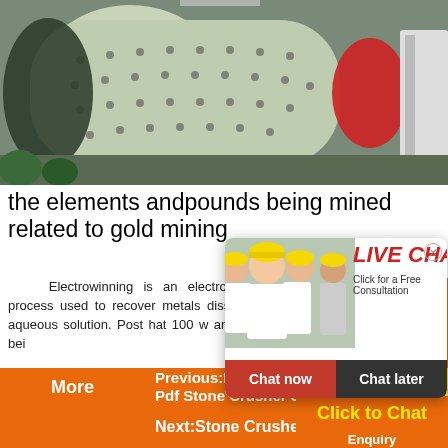[Figure (photo): Large industrial ball mill machine photographed from the front/side, showing a large cylindrical vessel with a perforated surface, in a factory setting. The front is open revealing the interior, and the far end has a red section.]
the elements andpounds being mined related to gold mining
Electrowinning is an electrochemical process used to recover metals dissolved in aqueous solutions. Post hat 100 w andpounds being
[Figure (screenshot): Live chat popup overlay showing workers in hard hats, with LIVE CHAT in red italic text, subtitle 'Click for a Free Consultation', and two buttons: 'Chat now' (red) and 'Chat later' (dark gray).]
[Figure (photo): Orange sidebar with images of orange/gray mining/crushing machinery including a cone crusher and a mobile crushing plant.]
More
Previous:Double Toggle Oil Crus Pdf Stone Crusher Sands
Next:Stone Crushers Oseberg
Enjoy 3% discount
Click to Chat
Enquiry